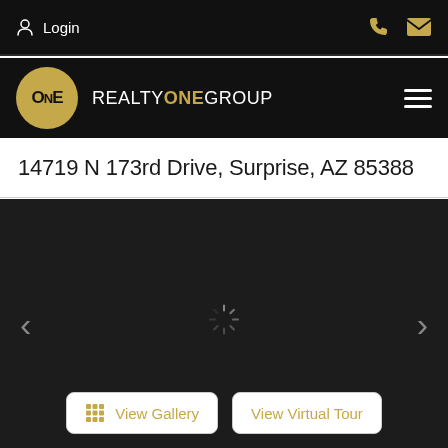Login
[Figure (logo): Realty ONE Group logo — circular gold badge with ONE text, followed by REALTYONE GROUP wordmark in white and gold on black background]
14719 N 173rd Drive, Surprise, AZ 85388
[Figure (photo): Dark loading screen with spinner icon and navigation arrows for image slideshow]
View Gallery | View Virtual Tour